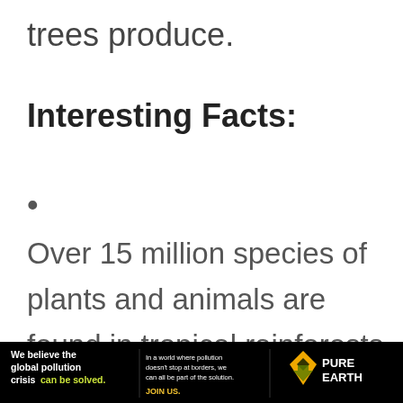trees produce.
Interesting Facts:
Over 15 million species of plants and animals are found in tropical rainforests
[Figure (infographic): Pure Earth advertisement banner: black background with text 'We believe the global pollution crisis can be solved.' in white and green, tagline in white, JOIN US in yellow, and Pure Earth logo with diamond icon on the right]